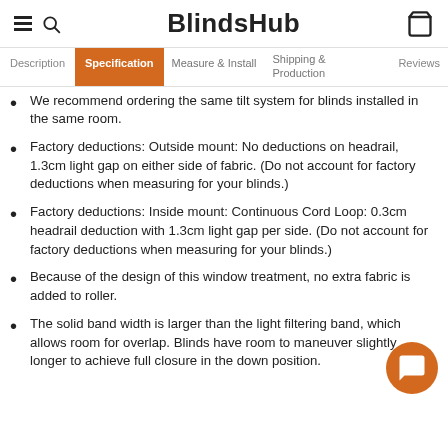BlindsHub
Specification (active tab); also: Description, Measure & Install, Shipping & Production, Reviews
We recommend ordering the same tilt system for blinds installed in the same room.
Factory deductions: Outside mount: No deductions on headrail, 1.3cm light gap on either side of fabric. (Do not account for factory deductions when measuring for your blinds.)
Factory deductions: Inside mount: Continuous Cord Loop: 0.3cm headrail deduction with 1.3cm light gap per side. (Do not account for factory deductions when measuring for your blinds.)
Because of the design of this window treatment, no extra fabric is added to roller.
The solid band width is larger than the light filtering band, which allows room for overlap. Blinds have room to maneuver slightly longer to achieve full closure in the down position.